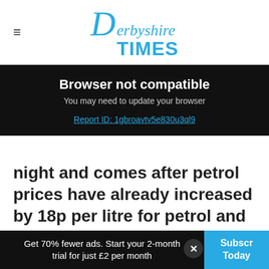Derbyshire Times
Browser not compatible
You may need to update your browser
Report ID: 1gbroavtv5e830u3ql9
night and comes after petrol prices have already increased by 18p per litre for petrol and 27p for diesel in the past month.
[Figure (photo): Two people in front of a building]
Get 70% fewer ads. Start your 2-month trial for just £2 per month
Subscribe Today